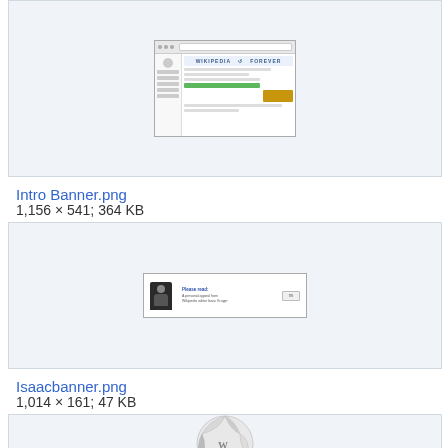[Figure (screenshot): Wikipedia website screenshot showing WIKIPEDIA FOREVER banner with browser chrome]
Intro Banner.png
1,156 × 541; 364 KB
[Figure (screenshot): Isaac banner showing a personal appeal from Wikipedia editor Isaac Kruger with avatar photo and text]
Isaacbanner.png
1,014 × 161; 47 KB
[Figure (illustration): Wikipedia globe logo - puzzle globe icon partially visible at bottom of page]